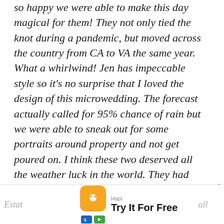so happy we were able to make this day magical for them! They not only tied the knot during a pandemic, but moved across the country from CA to VA the same year. What a whirlwind! Jen has impeccable style so it's no surprise that I loved the design of this microwedding. The forecast actually called for 95% chance of rain but we were able to sneak out for some portraits around property and not get poured on. I think these two deserved all the weather luck in the world. They had their ceremony on the manor steps, watched by family in person and friends via Zoom. They shared dances on the porch and an intimate dinner in the living room of the
Scroll To Top
[Figure (screenshot): Mobile advertisement banner for Hapi app with orange smiley icon, 'Try It For Free' headline, and black 'Open' button]